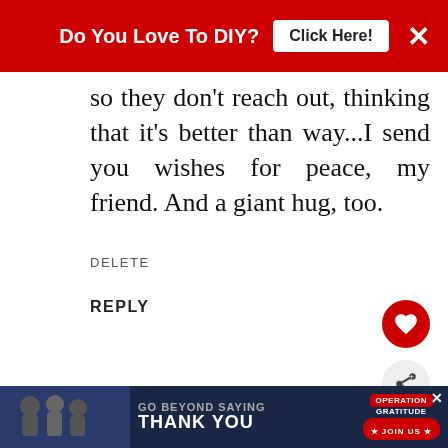[Figure (screenshot): Red advertisement banner at top: 'Do You Love To DIY? Click Here!' with X close button]
so they don't reach out, thinking that it's better than way...I send you wishes for peace, my friend. And a giant hug, too.
DELETE
REPLY
https://www.vintagesouthernpicks.com
OCTOBER 12, 2018 AT 7:26 PM
I felt that same way when my first husband died. People quit asking
[Figure (screenshot): What's Next promo box: thumbnail image and text 'You Can Stand In Line, I'll B...']
[Figure (screenshot): Bottom advertisement banner: 'GO BEYOND SAYING THANK YOU' Operation Gratitude JOIN US]